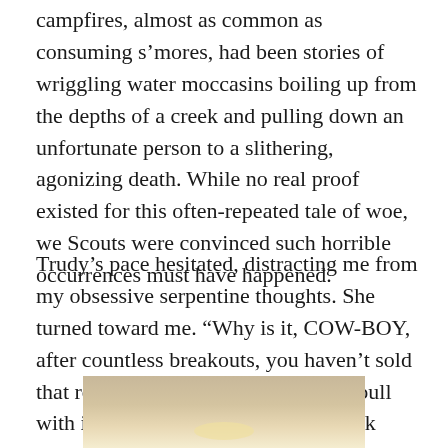campfires, almost as common as consuming s’mores, had been stories of wriggling water moccasins boiling up from the depths of a creek and pulling down an unfortunate person to a slithering, agonizing death. While no real proof existed for this often-repeated tale of woe, we Scouts were convinced such horrible occurrences must have happened.
Trudy’s pace hesitated, distracting me from my obsessive serpentine thoughts. She turned toward me. “Why is it, COW-BOY, after countless breakouts, you haven’t sold that roaming ruminant and bought a bull with instincts more akin to a homesick prairie dog?” Ouch, I recognized a practiced soliloquy when I heard one. She must be seething.
[Figure (photo): Partial photo of an animal, likely a close-up showing brown/tan fur or hide, visible at the bottom of the page.]